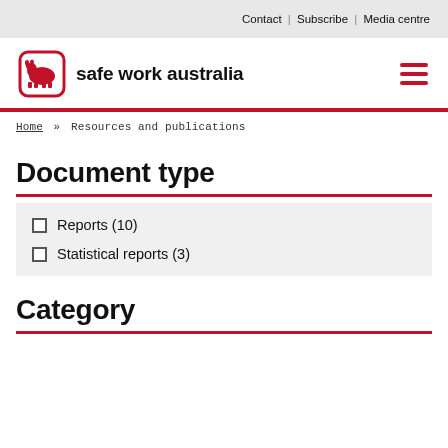Contact | Subscribe | Media centre
[Figure (logo): Safe Work Australia logo with red wombat icon and bold text 'safe work australia']
Home » Resources and publications
Document type
Reports (10)
Statistical reports (3)
Category